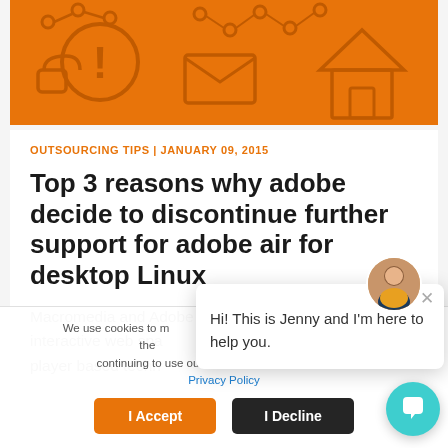[Figure (illustration): Orange background with dark orange outline icons: network nodes, exclamation mark in circle, house, envelope, and connected dots pattern]
OUTSOURCING TIPS | JANUARY 09, 2015
Top 3 reasons why adobe decide to discontinue further support for adobe air for desktop Linux
Macromedia and Adobe revolutionize the interactive web spa player based techn
We use cookies to make sure you can have the best experience on our website. If you continue to use this site for delivering the best experience for delivering, we will assume continuing to use our site, you agree to accept our Privacy Policy
I Accept
I Decline
Hi! This is Jenny and I'm here to help you.